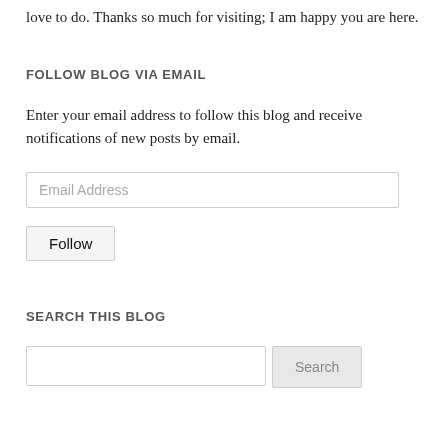love to do. Thanks so much for visiting; I am happy you are here.
FOLLOW BLOG VIA EMAIL
Enter your email address to follow this blog and receive notifications of new posts by email.
Email Address
Follow
SEARCH THIS BLOG
Search